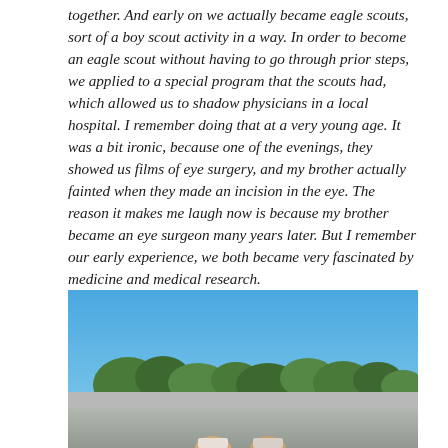together. And early on we actually became eagle scouts, sort of a boy scout activity in a way. In order to become an eagle scout without having to go through prior steps, we applied to a special program that the scouts had, which allowed us to shadow physicians in a local hospital. I remember doing that at a very young age. It was a bit ironic, because one of the evenings, they showed us films of eye surgery, and my brother actually fainted when they made an incision in the eye. The reason it makes me laugh now is because my brother became an eye surgeon many years later. But I remember our early experience, we both became very fascinated by medicine and medical research.
[Figure (photo): Outdoor photo showing a blue sky with trees and what appears to be people at the bottom, partially cut off.]